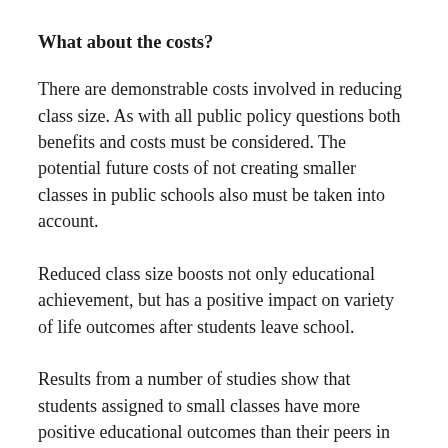What about the costs?
There are demonstrable costs involved in reducing class size. As with all public policy questions both benefits and costs must be considered. The potential future costs of not creating smaller classes in public schools also must be taken into account.
Reduced class size boosts not only educational achievement, but has a positive impact on variety of life outcomes after students leave school.
Results from a number of studies show that students assigned to small classes have more positive educational outcomes than their peers in regular-sized classes including rates of high